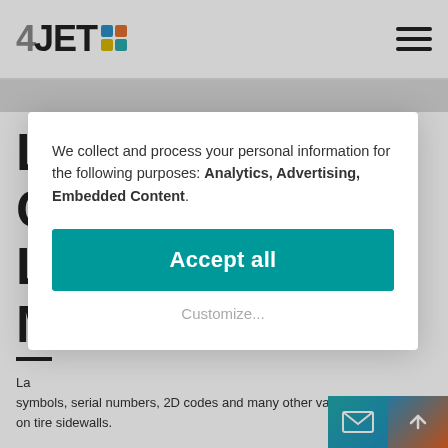[Figure (logo): 4JET logo with colored square dots in top right of logo]
We collect and process your personal information for the following purposes: Analytics, Advertising, Embedded Content.
Accept all
Customize...
symbols, serial numbers, 2D codes and many other variable information on tire sidewalls.
The non-contact laser process selectively removes sidewall to create a crisp engraving. Fonts and des specifications are controlled directly in the tire factory and not